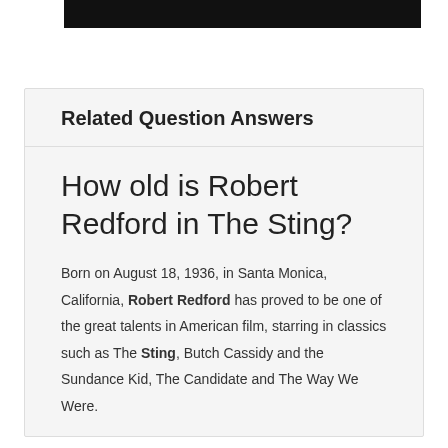[Figure (other): Black rectangular bar at the top of the page]
Related Question Answers
How old is Robert Redford in The Sting?
Born on August 18, 1936, in Santa Monica, California, Robert Redford has proved to be one of the great talents in American film, starring in classics such as The Sting, Butch Cassidy and the Sundance Kid, The Candidate and The Way We Were.